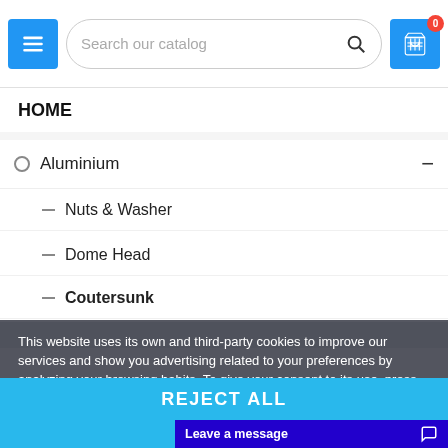[Figure (screenshot): Website header with hamburger menu button (blue), search bar reading 'Search our catalog', and cart icon (blue) with red badge showing 0]
HOME
Aluminium
Nuts & Washer
Dome Head
Coutersunk
This website uses its own and third-party cookies to improve our services and show you advertising related to your preferences by analyzing your browsing habits. To give your consent to its use, press the Accept button.
More information   Customize Cookies
REJECT ALL
Leave a message